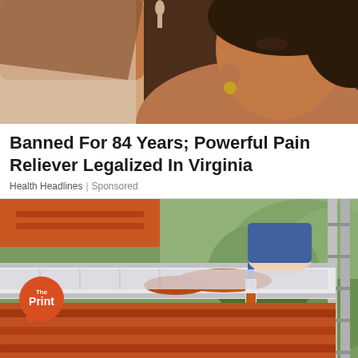[Figure (photo): Close-up photo of a woman tilting her head back, appearing to apply eye drops or take something orally, with blurred background]
Banned For 84 Years; Powerful Pain Reliever Legalized In Virginia
Health Headlines | Sponsored
[Figure (photo): Person on a ladder painting or cleaning a gutter on a building with orange/terracotta roof tiles, with green trees visible in background. The Print logo badge visible in lower left.]